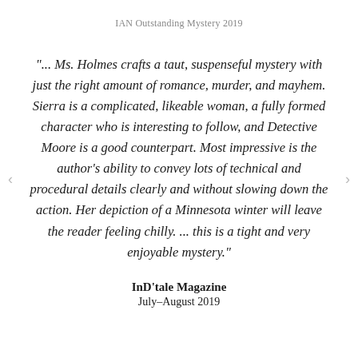IAN Outstanding Mystery 2019
"... Ms. Holmes crafts a taut, suspenseful mystery with just the right amount of romance, murder, and mayhem. Sierra is a complicated, likeable woman, a fully formed character who is interesting to follow, and Detective Moore is a good counterpart. Most impressive is the author's ability to convey lots of technical and procedural details clearly and without slowing down the action. Her depiction of a Minnesota winter will leave the reader feeling chilly. ... this is a tight and very enjoyable mystery."
InD'tale Magazine
July–August 2019